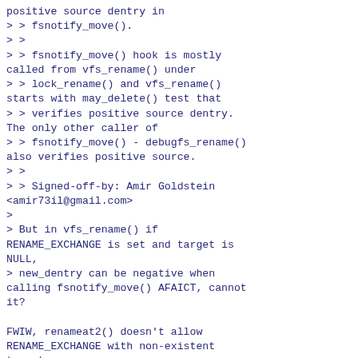positive source dentry in
> > fsnotify_move().
> >
> > fsnotify_move() hook is mostly called from vfs_rename() under
> > lock_rename() and vfs_rename() starts with may_delete() test that
> > verifies positive source dentry. The only other caller of
> > fsnotify_move() - debugfs_rename() also verifies positive source.
> >
> > Signed-off-by: Amir Goldstein <amir73il@gmail.com>
>
> But in vfs_rename() if RENAME_EXCHANGE is set and target is NULL,
> new_dentry can be negative when calling fsnotify_move() AFAICT, cannot it?

FWIW, renameat2() doesn't allow RENAME_EXCHANGE with non-existent target
and I didn't find any other place that could call vfs_rename() with
RENAME_EXCHANGE and negative target but still vfs_rename() seems to support
that and so fsnotify should likely